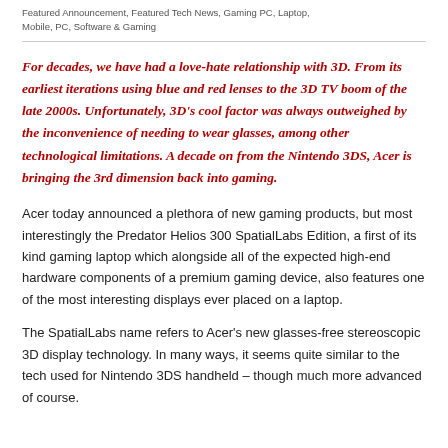Featured Announcement, Featured Tech News, Gaming PC, Laptop, Mobile, PC, Software & Gaming
For decades, we have had a love-hate relationship with 3D. From its earliest iterations using blue and red lenses to the 3D TV boom of the late 2000s. Unfortunately, 3D's cool factor was always outweighed by the inconvenience of needing to wear glasses, among other technological limitations. A decade on from the Nintendo 3DS, Acer is bringing the 3rd dimension back into gaming.
Acer today announced a plethora of new gaming products, but most interestingly the Predator Helios 300 SpatialLabs Edition, a first of its kind gaming laptop which alongside all of the expected high-end hardware components of a premium gaming device, also features one of the most interesting displays ever placed on a laptop.
The SpatialLabs name refers to Acer's new glasses-free stereoscopic 3D display technology. In many ways, it seems quite similar to the tech used for Nintendo 3DS handheld – though much more advanced of course.